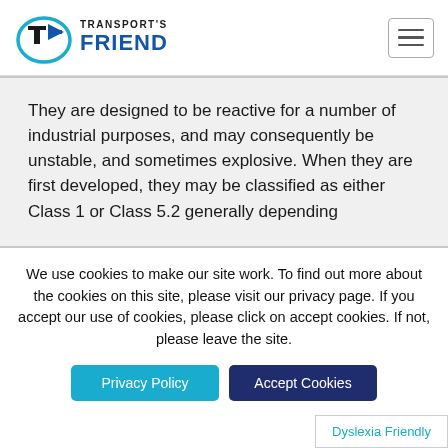[Figure (logo): Transport's Friend logo with stylized T and arrow icon, and text 'TRANSPORT'S FRIEND']
They are designed to be reactive for a number of industrial purposes, and may consequently be unstable, and sometimes explosive. When they are first developed, they may be classified as either Class 1 or Class 5.2 generally depending
We use cookies to make our site work. To find out more about the cookies on this site, please visit our privacy page. If you accept our use of cookies, please click on accept cookies. If not, please leave the site.
Privacy Policy
Accept Cookies
Dyslexia Friendly